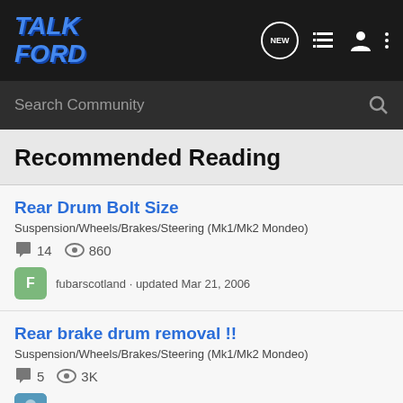TalkFord
Recommended Reading
Rear Drum Bolt Size
Suspension/Wheels/Brakes/Steering (Mk1/Mk2 Mondeo)
14 comments · 860 views
fubarscotland · updated Mar 21, 2006
Rear brake drum removal !!
Suspension/Wheels/Brakes/Steering (Mk1/Mk2 Mondeo)
5 comments · 3K views
Diesel_fan · updated Sep 24, 2002